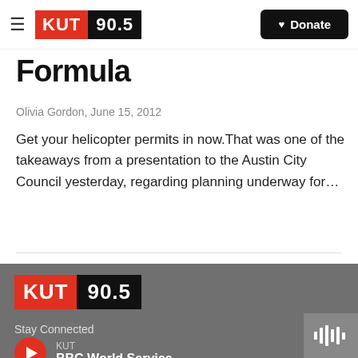KUT 90.5 — Donate
Formula
Olivia Gordon,  June 15, 2012
Get your helicopter permits in now.That was one of the takeaways from a presentation to the Austin City Council yesterday, regarding planning underway for…
[Figure (logo): KUT 90.5 logo in footer on gray background]
Stay Connected
KUT
BBC World Service